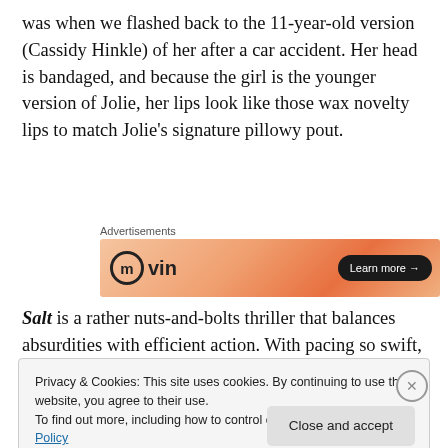was when we flashed back to the 11-year-old version (Cassidy Hinkle) of her after a car accident. Her head is bandaged, and because the girl is the younger version of Jolie, her lips look like those wax novelty lips to match Jolie's signature pillowy pout.
[Figure (other): Advertisement banner for a service showing logo with circle M icon and 'vin' text, orange gradient background, and a 'Learn more →' button]
Salt is a rather nuts-and-bolts thriller that balances absurdities with efficient action. With pacing so swift, you
Privacy & Cookies: This site uses cookies. By continuing to use this website, you agree to their use.
To find out more, including how to control cookies, see here: Cookie Policy